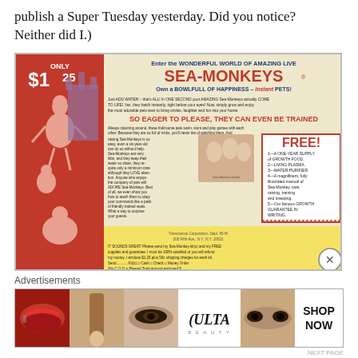publish a Super Tuesday yesterday. Did you notice? Neither did I.)
[Figure (illustration): Vintage Sea-Monkeys comic advertisement. ONLY $1.25. Enter the WONDERFUL WORLD OF AMAZING LIVE SEA-MONKEYS. Own a BOWLFULL OF HAPPINESS - Instant PETS! SO EAGER TO PLEASE, THEY CAN EVEN BE TRAINED. FREE! 1-A ONE-YEAR SUPPLY OF GROWTH FOOD, 2-LIVING PLASMA, 3-WATER PURIFIER, 4-A magnificent, fully illustrated manual of Sea-Monkey care, raising, training and breeding, 5-Our famous GROWTH GUARANTEE IN WRITING. Transcience Corporation, Dept. 95-W, 200 Fifth Ave., N.Y., N.Y. 10022. Order form at bottom.]
Advertisements
[Figure (photo): ULTA Beauty advertisement banner showing makeup product images (lips, brush, eye), ULTA logo, model eyes, and SHOP NOW text]